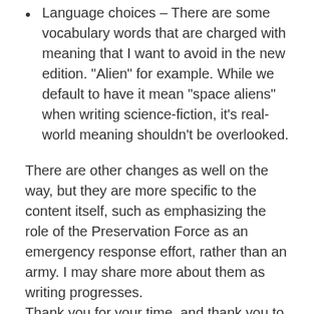Language choices – There are some vocabulary words that are charged with meaning that I want to avoid in the new edition. “Alien” for example. While we default to have it mean “space aliens” when writing science-fiction, it’s real-world meaning shouldn’t be overlooked.
There are other changes as well on the way, but they are more specific to the content itself, such as emphasizing the role of the Preservation Force as an emergency response effort, rather than an army. I may share more about them as writing progresses.
Thank you for your time, and thank you to game writers such as James Mendez-Hodes and Meinberg for articles that have challenged me to reassess my own messages, and for designers like